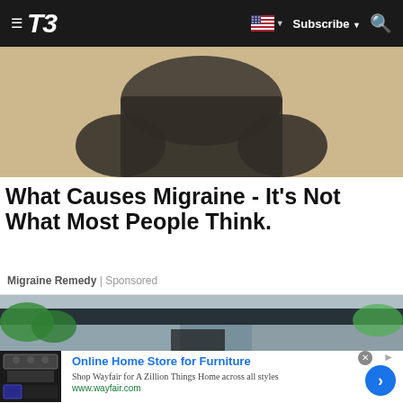T3 — Subscribe
[Figure (photo): Blurred photo of a person wearing a dark shirt, upper body visible, background is blurred beige/tan color]
What Causes Migraine - It's Not What Most People Think.
Migraine Remedy | Sponsored
[Figure (photo): Blurred photo of a modern building exterior with dark roof overhang, concrete walls, and greenery]
[Figure (photo): Advertisement thumbnail showing kitchen appliances (stove/oven)]
Online Home Store for Furniture
Shop Wayfair for A Zillion Things Home across all styles
www.wayfair.com